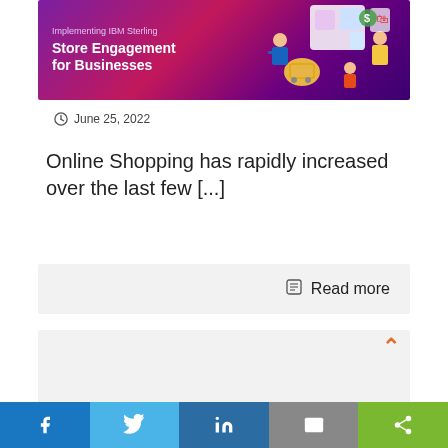[Figure (illustration): Banner image for 'Implementing IBM Sterling Store Engagement for Businesses' with purple/pink gradient background and illustrated shopping characters]
June 25, 2022
Online Shopping has rapidly increased over the last few [...]
Read more
[Figure (other): Gray card with orange chevron/up-arrow in top right corner]
[Figure (other): Social sharing bar with Facebook, Twitter, LinkedIn, Email, and Share buttons]